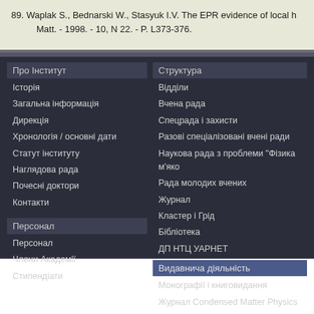89. Waplak S., Bednarski W., Stasyuk I.V. The EPR evidence of local h Matt. - 1998. - 10, N 22. - P. L373-376.
Про Інститут
Історія
Загальна інформація
Дирекція
Хронологія / основні дати
Статут інституту
Наглядова рада
Почесні доктори
Контакти
Персонал
Персонал
Члени Академії
Стипендіати
Структура
Відділи
Вчена рада
Спецрада і захисти
Разові спеціалізовані вчені ради
Наукова рада з проблеми "Фізика м'яко
Рада молодих вчених
Журнал
Кластер і Грід
Бібліотека
ДП НТЦ УАРНЕТ
Видавнича діяльність
Монографії і книговидання
Журнал Condensed Matter Physics
Препринти
Публікації
Автореферати дисертацій